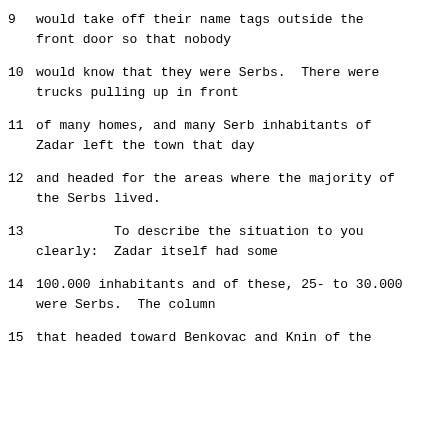9     would take off their name tags outside the front door so that nobody
10    would know that they were Serbs.  There were trucks pulling up in front
11    of many homes, and many Serb inhabitants of Zadar left the town that day
12    and headed for the areas where the majority of the Serbs lived.
13             To describe the situation to you clearly:  Zadar itself had some
14    100.000 inhabitants and of these, 25- to 30.000 were Serbs.  The column
15    that headed toward Benkovac and Knin of the